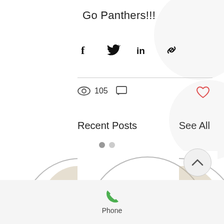Go Panthers!!!
[Figure (infographic): Social sharing icons: Facebook (f), Twitter bird, LinkedIn (in), Link/chain icon]
105 views, comment icon, heart/like icon
Recent Posts
See All
[Figure (infographic): Carousel of recent post thumbnails showing a calendar icon with a checkmark, partially visible circular bordered cards on left and right sides]
[Figure (infographic): Footer bar with green phone icon and label 'Phone']